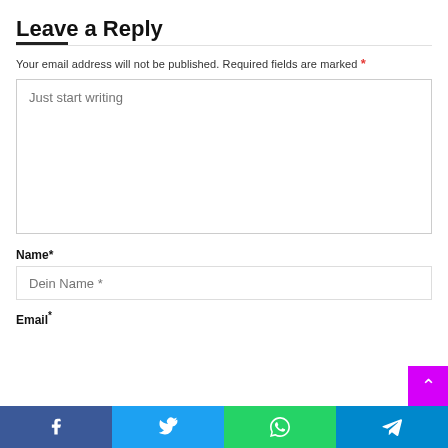Leave a Reply
Your email address will not be published. Required fields are marked *
Just start writing
Name*
Dein Name *
Email*